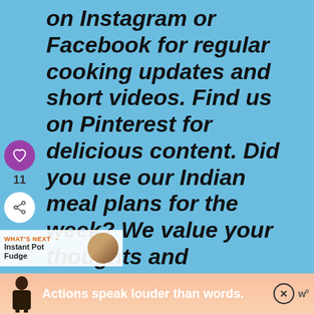on Instagram or Facebook for regular cooking updates and short videos. Find us on Pinterest for delicious content. Did you use our Indian meal plans for the week? We value your thoughts and comments! ve a comment and tell us how it worked for
[Figure (screenshot): UI sidebar with heart/like button (purple circle, heart icon), like count 11, and share button (white circle, share icon)]
WHAT'S NEXT → Instant Pot Fudge
[Figure (photo): Small circular thumbnail photo showing a person, used as 'What's Next' preview image]
[Figure (infographic): Advertisement banner at bottom: figure of person on left, text 'Actions speak louder than words.' in white on peach/coral background, close X button, logo 'W' on right]